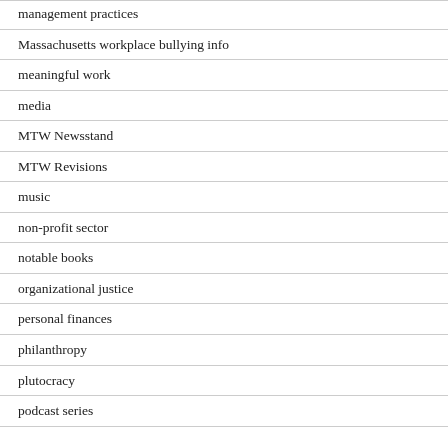management practices
Massachusetts workplace bullying info
meaningful work
media
MTW Newsstand
MTW Revisions
music
non-profit sector
notable books
organizational justice
personal finances
philanthropy
plutocracy
podcast series